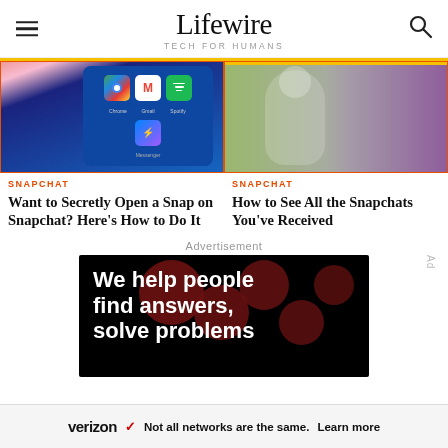Lifewire TECH FOR HUMANS
[Figure (screenshot): Article thumbnail showing a smartphone screen with app icons (Chrome, Gmail, Spotify, Messenger) on a blue background, inside an orange-bordered frame with yellow top bar.]
[Figure (photo): Article thumbnail showing a person taking a selfie on a phone, colorized with green and purple accents, inside an orange-bordered frame with yellow top bar.]
SNAPCHAT
Want to Secretly Open a Snap on Snapchat? Here's How to Do It
SNAPCHAT
How to See All the Snapchats You've Received
Advertisement
[Figure (infographic): Advertisement banner with black background, dark red circular dots, and large white bold text reading 'We help people find answers, solve problems']
[Figure (infographic): Verizon advertisement banner at the bottom: Verizon logo with red checkmark, text 'Not all networks are the same. Learn more']